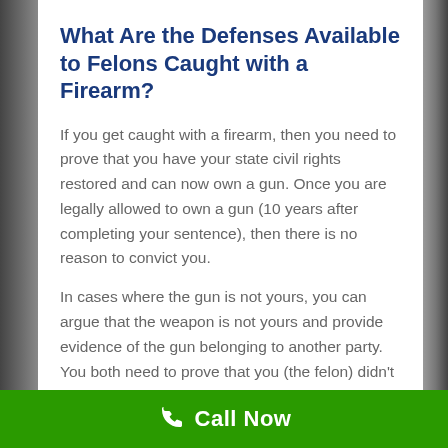What Are the Defenses Available to Felons Caught with a Firearm?
If you get caught with a firearm, then you need to prove that you have your state civil rights restored and can now own a gun. Once you are legally allowed to own a gun (10 years after completing your sentence), then there is no reason to convict you.
In cases where the gun is not yours, you can argue that the weapon is not yours and provide evidence of the gun belonging to another party. You both need to prove that you (the felon) didn't have access to it.
Call Now